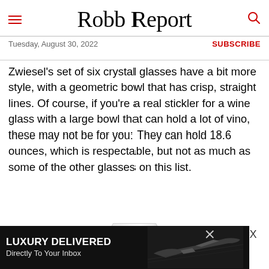Robb Report
Tuesday, August 30, 2022 | SUBSCRIBE
Zwiesel's set of six crystal glasses have a bit more style, with a geometric bowl that has crisp, straight lines. Of course, if you're a real stickler for a wine glass with a large bowl that can hold a lot of vino, these may not be for you: They can hold 18.6 ounces, which is respectable, but not as much as some of the other glasses on this list.
[Figure (photo): Partial image of a stemless wine glass, white/frosted crystal, visible from approximately the bowl area upward, cropped at bottom of page.]
[Figure (infographic): Advertisement banner at bottom. Black background with text 'LUXURY DELIVERED Directly To Your Inbox' on left side, and a dark photo of a private jet on right side. Has a close/X button on far right.]